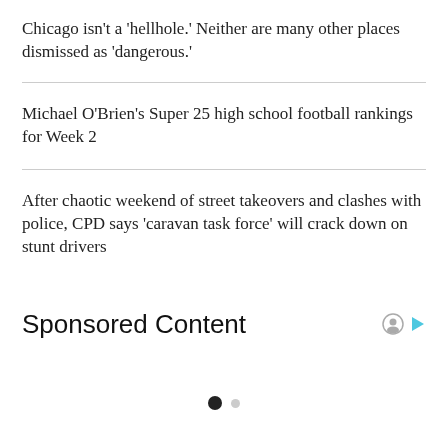Chicago isn’t a ‘hellhole.’ Neither are many other places dismissed as ‘dangerous.’
Michael O’Brien’s Super 25 high school football rankings for Week 2
After chaotic weekend of street takeovers and clashes with police, CPD says ‘caravan task force’ will crack down on stunt drivers
Sponsored Content
[Figure (other): Pagination dots: one filled dark circle and one smaller light circle]